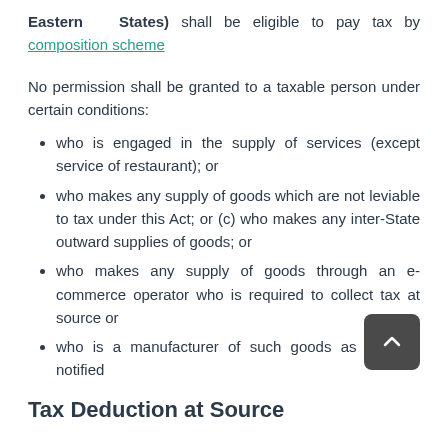Eastern States) shall be eligible to pay tax by composition scheme
No permission shall be granted to a taxable person under certain conditions:
who is engaged in the supply of services (except service of restaurant); or
who makes any supply of goods which are not leviable to tax under this Act; or (c) who makes any inter-State outward supplies of goods; or
who makes any supply of goods through an e-commerce operator who is required to collect tax at source or
who is a manufacturer of such goods as may be notified
Tax Deduction at Source